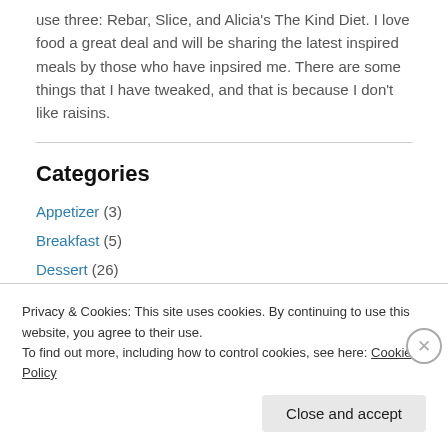use three: Rebar, Slice, and Alicia's The Kind Diet. I love food a great deal and will be sharing the latest inspired meals by those who have inpsired me. There are some things that I have tweaked, and that is because I don't like raisins.
Categories
Appetizer (3)
Breakfast (5)
Dessert (26)
Dinner (54)
Life (125)
Privacy & Cookies: This site uses cookies. By continuing to use this website, you agree to their use.
To find out more, including how to control cookies, see here: Cookie Policy